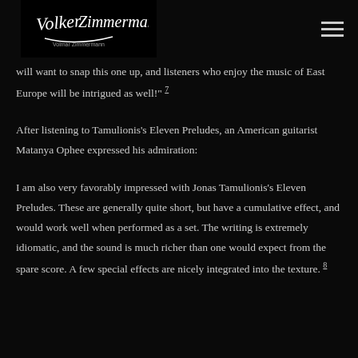[Figure (logo): Volker Zimmermann signature logo in white on black background, with cursive/calligraphic text reading 'Volker Zimmermann']
will want to snap this one up, and listeners who enjoy the music of East Europe will be intrigued as well!" 7
After listening to Tamulionis's Eleven Preludes, an American guitarist Matanya Ophee expressed his admiration:
I am also very favorably impressed with Jonas Tamulionis's Eleven Preludes. These are generally quite short, but have a cumulative effect, and would work well when performed as a set. The writing is extremely idiomatic, and the sound is much richer than one would expect from the spare score. A few special effects are nicely integrated into the texture. 8